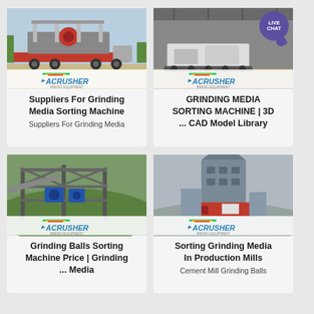[Figure (photo): Mobile crusher machine on a flatbed truck, outdoors, red and grey machine with ACRUSHER mining equipment logo at bottom]
Suppliers For Grinding Media Sorting Machine
Suppliers For Grinding Media
[Figure (photo): Mobile crushing equipment inside a large industrial warehouse/hall, ACRUSHER mining equipment logo at bottom, LIVE CHAT bubble overlay]
GRINDING MEDIA SORTING MACHINE | 3D ... CAD Model Library
[Figure (photo): Industrial grinding/sorting machinery on elevated steel framework structure outdoors, ACRUSHER mining equipment logo at bottom]
Grinding Balls Sorting Machine Price | Grinding ... Media
[Figure (photo): Large industrial silo/tower structure for cement mill grinding balls, foggy outdoor background, ACRUSHER mining equipment logo at bottom]
Sorting Grinding Media In Production Mills
Cement Mill Grinding Balls